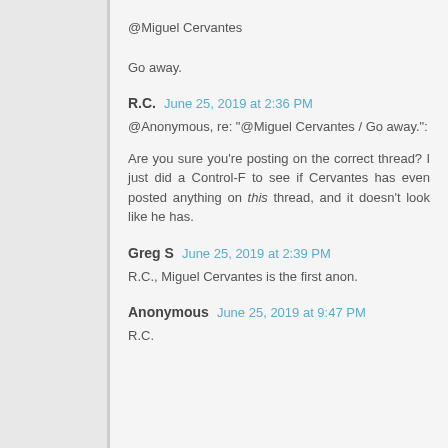@Miguel Cervantes
Go away.
R.C.  June 25, 2019 at 2:36 PM
@Anonymous, re: "@Miguel Cervantes / Go away.":
Are you sure you're posting on the correct thread? I just did a Control-F to see if Cervantes has even posted anything on this thread, and it doesn't look like he has.
Greg S  June 25, 2019 at 2:39 PM
R.C., Miguel Cervantes is the first anon.
Anonymous  June 25, 2019 at 9:47 PM
R.C.